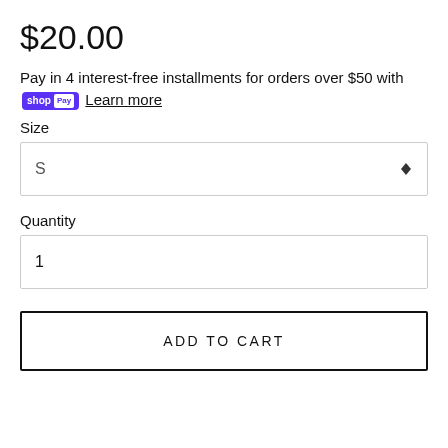$20.00
Pay in 4 interest-free installments for orders over $50 with shop Pay Learn more
Size
S
Quantity
1
ADD TO CART